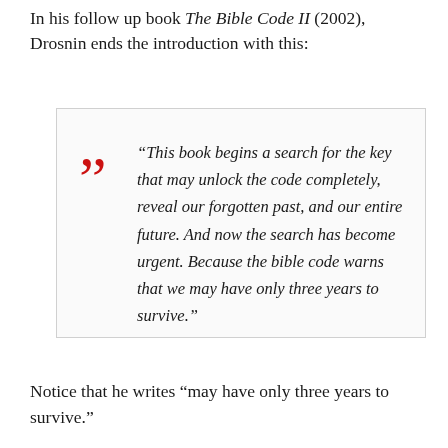In his follow up book The Bible Code II (2002), Drosnin ends the introduction with this:
“This book begins a search for the key that may unlock the code completely, reveal our forgotten past, and our entire future. And now the search has become urgent. Because the bible code warns that we may have only three years to survive.”
Notice that he writes “may have only three years to survive.”